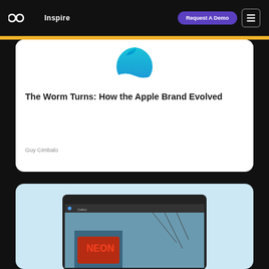Ceros Inspire — Request A Demo
The Worm Turns: How the Apple Brand Evolved
Guy Cimbalo
[Figure (screenshot): Screenshot of a tablet app showing neon signs and a city scene]